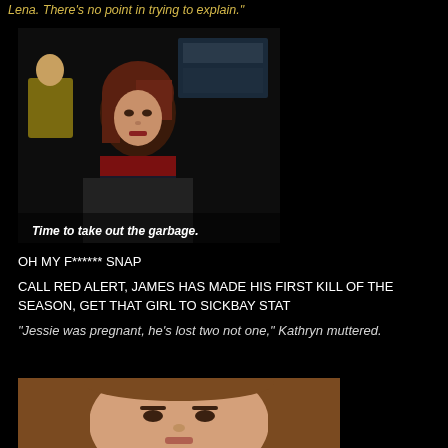Lena. There's no point in trying to explain."
[Figure (screenshot): Dark screenshot of a woman with red-brown hair sitting in a command chair, with subtitle text 'Time to take out the garbage.']
OH MY F****** SNAP
CALL RED ALERT, JAMES HAS MADE HIS FIRST KILL OF THE SEASON, GET THAT GIRL TO SICKBAY STAT
"Jessie was pregnant, he's lost two not one," Kathryn muttered.
[Figure (photo): Photo of a young woman with long brown hair looking to the side, partially cropped.]